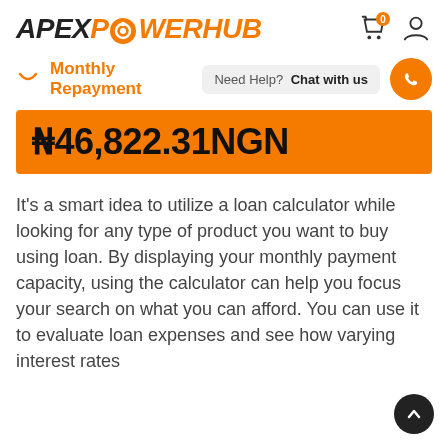APEXPOWERHUB
Monthly Repayment
₦46,822.31NGN
It's a smart idea to utilize a loan calculator while looking for any type of product you want to buy using loan. By displaying your monthly payment capacity, using the calculator can help you focus your search on what you can afford. You can use it to evaluate loan expenses and see how varying interest rates